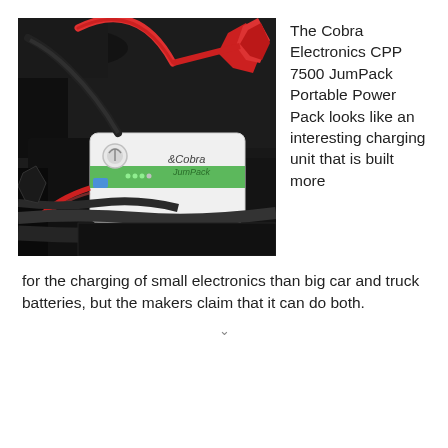[Figure (photo): The Cobra Electronics CPP 7500 JumPack portable power pack device sitting in a car engine bay connected to battery terminals with red and black jumper cables. The device is white and green with the Cobra JumPack logo.]
The Cobra Electronics CPP 7500 JumPack Portable Power Pack looks like an interesting charging unit that is built more for the charging of small electronics than big car and truck batteries, but the makers claim that it can do both.